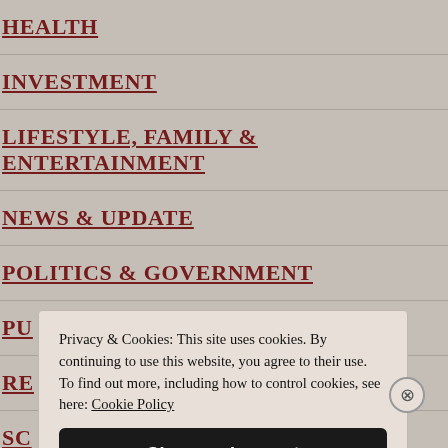HEALTH
INVESTMENT
LIFESTYLE, FAMILY & ENTERTAINMENT
NEWS & UPDATE
POLITICS & GOVERNMENT
PU[blic Affairs]
RE[al Estate]
SC[ience]
Privacy & Cookies: This site uses cookies. By continuing to use this website, you agree to their use. To find out more, including how to control cookies, see here: Cookie Policy
Close and accept